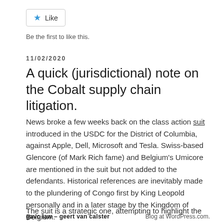[Figure (other): Like button widget with blue star icon]
Be the first to like this.
11/02/2020
A quick (jurisdictional) note on the Cobalt supply chain litigation.
News broke a few weeks back on the class action suit introduced in the USDC for the District of Columbia, against Apple, Dell, Microsoft and Tesla. Swiss-based Glencore (of Mark Rich fame) and Belgium's Umicore are mentioned in the suit but not added to the defendants. Historical references are inevitably made to the plundering of Congo first by King Leopold personally and in a later stage by the Kingdom of Belgium.
The suit is a strategic one, attempting to highlight the
gavclaw – geert van calster | Blog at WordPress.com.